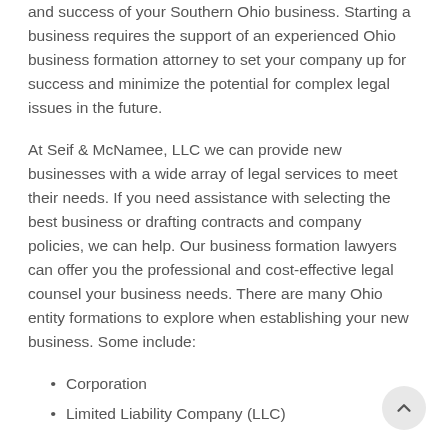and success of your Southern Ohio business. Starting a business requires the support of an experienced Ohio business formation attorney to set your company up for success and minimize the potential for complex legal issues in the future.
At Seif & McNamee, LLC we can provide new businesses with a wide array of legal services to meet their needs. If you need assistance with selecting the best business or drafting contracts and company policies, we can help. Our business formation lawyers can offer you the professional and cost-effective legal counsel your business needs. There are many Ohio entity formations to explore when establishing your new business. Some include:
Corporation
Limited Liability Company (LLC)